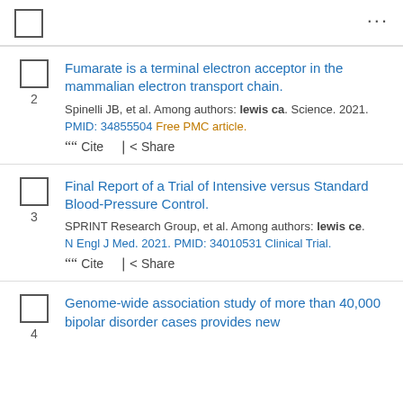...
Fumarate is a terminal electron acceptor in the mammalian electron transport chain. Spinelli JB, et al. Among authors: lewis ca. Science. 2021. PMID: 34855504 Free PMC article.
Final Report of a Trial of Intensive versus Standard Blood-Pressure Control. SPRINT Research Group, et al. Among authors: lewis ce. N Engl J Med. 2021. PMID: 34010531 Clinical Trial.
Genome-wide association study of more than 40,000 bipolar disorder cases provides new